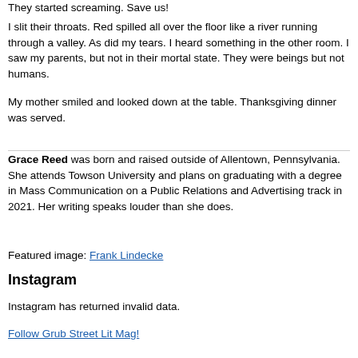They started screaming. Save us!
I slit their throats. Red spilled all over the floor like a river running through a valley. As did my tears. I heard something in the other room. I saw my parents, but not in their mortal state. They were beings but not humans.
My mother smiled and looked down at the table. Thanksgiving dinner was served.
Grace Reed was born and raised outside of Allentown, Pennsylvania. She attends Towson University and plans on graduating with a degree in Mass Communication on a Public Relations and Advertising track in 2021. Her writing speaks louder than she does.
Featured image: Frank Lindecke
Instagram
Instagram has returned invalid data.
Follow Grub Street Lit Mag!